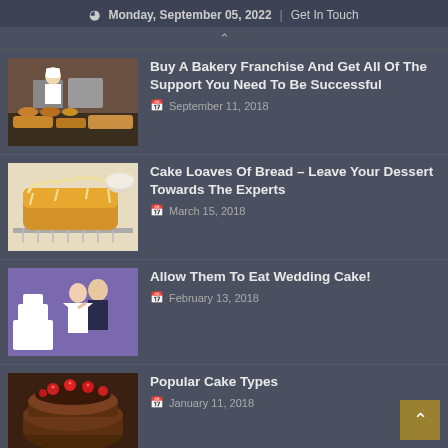Monday, September 05, 2022  |  Get In Touch
[Figure (photo): Bakery counter with pastries and chef in white uniform]
Buy A Bakery Franchise And Get All Of The Support You Need To Be Successful
September 11, 2018
[Figure (photo): Glazed cake loaf on a wire rack]
Cake Loaves Of Bread – Leave Your Dessert Towards The Experts
March 15, 2018
[Figure (photo): Bride and groom eating wedding cake at reception]
Allow Them To Eat Wedding Cake!
February 13, 2018
[Figure (photo): Chocolate cake with raspberries on top]
Popular Cake Types
January 11, 2018